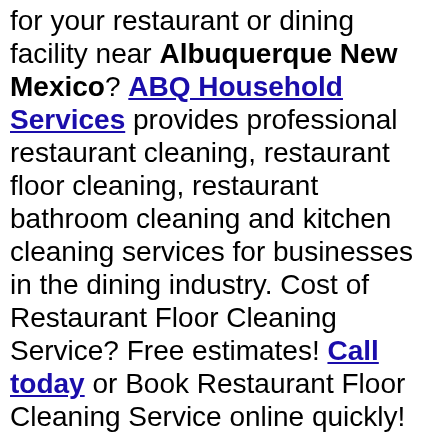for your restaurant or dining facility near Albuquerque New Mexico? ABQ Household Services provides professional restaurant cleaning, restaurant floor cleaning, restaurant bathroom cleaning and kitchen cleaning services for businesses in the dining industry. Cost of Restaurant Floor Cleaning Service? Free estimates! Call today or Book Restaurant Floor Cleaning Service online quickly!
REQUEST A QUOTE